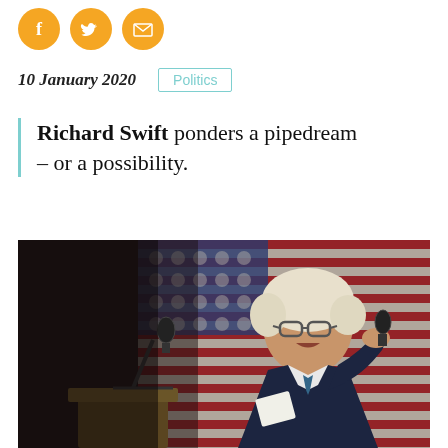[Figure (other): Three social media sharing icons: Facebook (f), Twitter (bird), and email (envelope), all in orange/gold circles]
10 January 2020
Politics
Richard Swift ponders a pipedream – or a possibility.
[Figure (photo): An elderly man with white hair speaking into a microphone at a podium, in front of a large American flag backdrop. The photo is in color with dramatic lighting.]